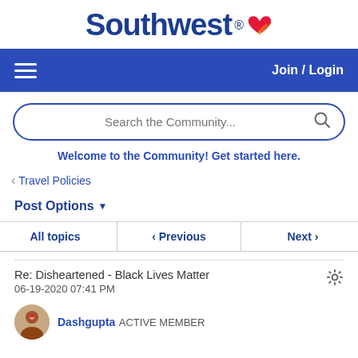[Figure (logo): Southwest Airlines logo with bold blue text and heart icon]
Join / Login
[Figure (screenshot): Search bar with placeholder text 'Search the Community...' and search icon]
Welcome to the Community! Get started here.
< Travel Policies
Post Options ▼
[Figure (screenshot): Navigation buttons: All topics, < Previous, Next >]
Re: Disheartened - Black Lives Matter
06-19-2020 07:41 PM
Dashgupta  ACTIVE MEMBER